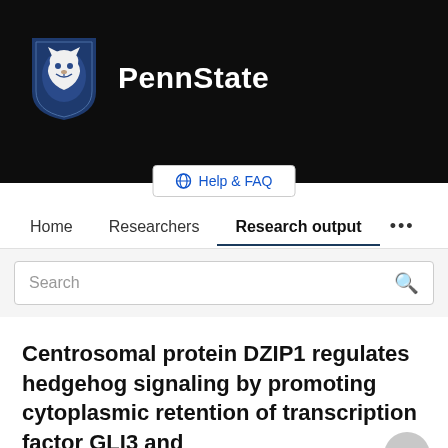[Figure (logo): Penn State University logo with lion shield and PennState text on dark background]
Help & FAQ
Home   Researchers   Research output   ...
Search
Centrosomal protein DZIP1 regulates hedgehog signaling by promoting cytoplasmic retention of transcription factor GLI3 and